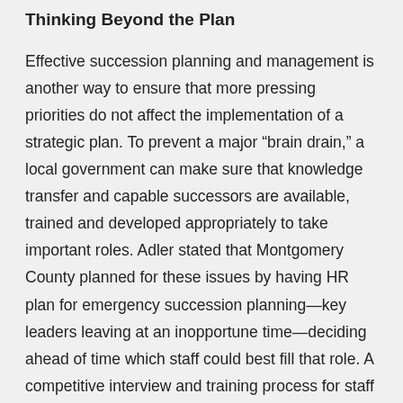Thinking Beyond the Plan
Effective succession planning and management is another way to ensure that more pressing priorities do not affect the implementation of a strategic plan. To prevent a major “brain drain,” a local government can make sure that knowledge transfer and capable successors are available, trained and developed appropriately to take important roles. Adler stated that Montgomery County planned for these issues by having HR plan for emergency succession planning—key leaders leaving at an inopportune time—deciding ahead of time which staff could best fill that role. A competitive interview and training process for staff also serves to fast-track ambitious employees while adequately preparing them for management roles should they be needed.
Perhaps the most critical concept to keep in mind about strategic planning is that one size does not fit all. Each